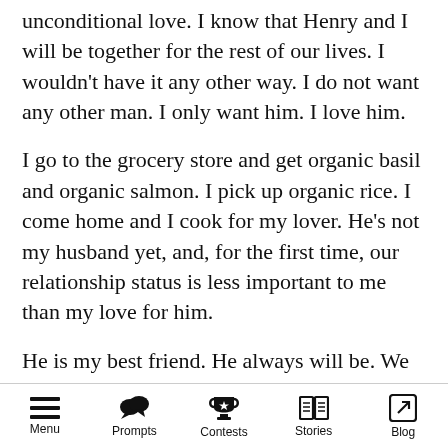unconditional love. I know that Henry and I will be together for the rest of our lives. I wouldn't have it any other way. I do not want any other man. I only want him. I love him.
I go to the grocery store and get organic basil and organic salmon. I pick up organic rice. I come home and I cook for my lover. He's not my husband yet, and, for the first time, our relationship status is less important to me than my love for him.
He is my best friend. He always will be. We collaborate on scripts together. I write them. He films them. Sometimes, when it's very late at
Menu   Prompts   Contests   Stories   Blog